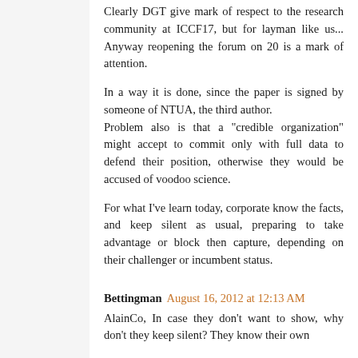Clearly DGT give mark of respect to the research community at ICCF17, but for layman like us... Anyway reopening the forum on 20 is a mark of attention.
In a way it is done, since the paper is signed by someone of NTUA, the third author. Problem also is that a "credible organization" might accept to commit only with full data to defend their position, otherwise they would be accused of voodoo science.
For what I've learn today, corporate know the facts, and keep silent as usual, preparing to take advantage or block then capture, depending on their challenger or incumbent status.
Bettingman August 16, 2012 at 12:13 AM
AlainCo, In case they don't want to show, why don't they keep silent? They know their own